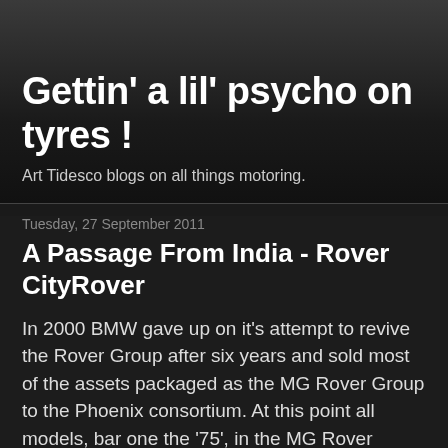Gettin' a lil' psycho on tyres !
Art Tidesco blogs on all things motoring.
Tuesday, 27 September 2011
A Passage From India - Rover CityRover
In 2000 BMW gave up on it's attempt to revive the Rover Group after six years and sold most of the assets packaged as the MG Rover Group to the Phoenix consortium. At this point all models, bar one the '75', in the MG Rover groups portfolio were around five years old and Phoenix determined that their first new car would be aimed at the city car market segment that had once been an almost exclusive preserve